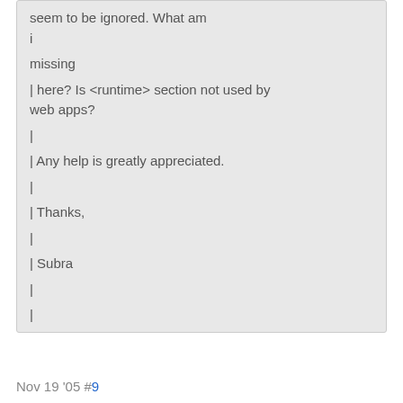seem to be ignored. What am
i
missing
| here? Is <runtime> section not used by
web apps?
|
| Any help is greatly appreciated.
|
| Thanks,
|
| Subra
|
|
Nov 19 '05 #9